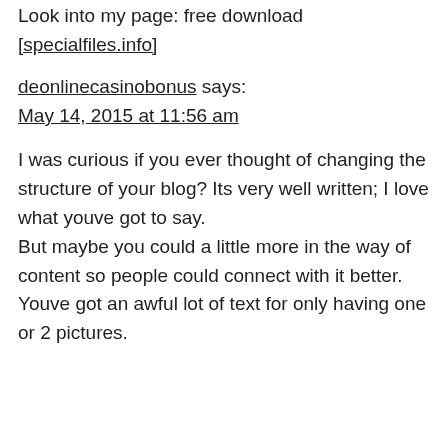Look into my page: free download [specialfiles.info]
deonlinecasinobonus says:
May 14, 2015 at 11:56 am
I was curious if you ever thought of changing the structure of your blog? Its very well written; I love what youve got to say.
But maybe you could a little more in the way of content so people could connect with it better.
Youve got an awful lot of text for only having one or 2 pictures.